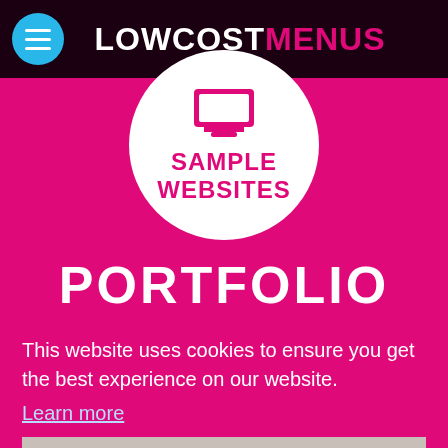LOWCOSTMENUS
[Figure (logo): Circle badge with computer monitor icon and text SAMPLE WEBSITES on magenta background]
PORTFOLIO
MENU WEBSITES  ›
This website uses cookies to ensure you get the best experience on our website. Learn more
Got it!
LOGO
DESIGN